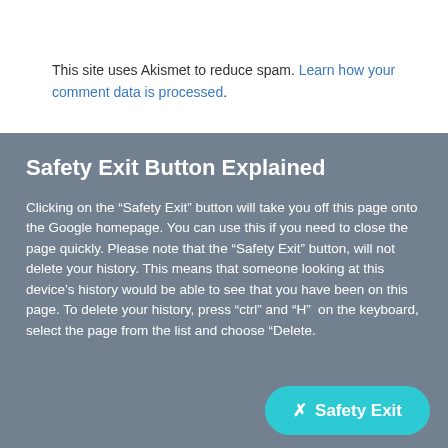This site uses Akismet to reduce spam. Learn how your comment data is processed.
Safety Exit Button Explained
Clicking on the “Safety Exit” button will take you off this page onto the Google homepage. You can use this if you need to close the page quickly. Please note that the “Safety Exit” button, will not delete your history. This means that someone looking at this device's history would be able to see that you have been on this page. To delete your history, press “ctrl” and “H” on the keyboard, select the page from the list and choose “Delete.